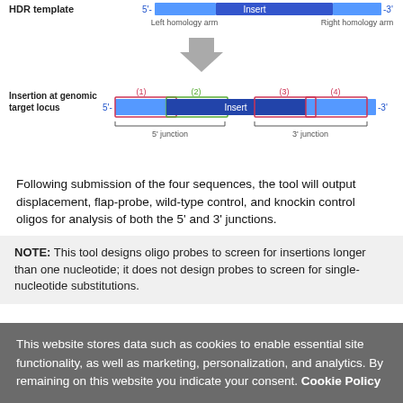[Figure (schematic): Diagram showing HDR template with left homology arm, insert, and right homology arm (5' to 3'), an arrow pointing down, then an 'Insertion at genomic target locus' diagram with numbered regions (1)(2)(3)(4) and a blue bar labeled Insert, showing 5' junction and 3' junction brackets.]
Following submission of the four sequences, the tool will output displacement, flap-probe, wild-type control, and knockin control oligos for analysis of both the 5' and 3' junctions.
NOTE: This tool designs oligo probes to screen for insertions longer than one nucleotide; it does not design probes to screen for single-nucleotide substitutions.
This website stores data such as cookies to enable essential site functionality, as well as marketing, personalization, and analytics. By remaining on this website you indicate your consent. Cookie Policy